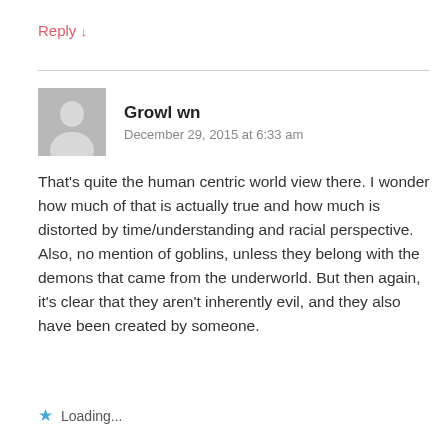Reply ↓
Growl wn
December 29, 2015 at 6:33 am
That's quite the human centric world view there. I wonder how much of that is actually true and how much is distorted by time/understanding and racial perspective.
Also, no mention of goblins, unless they belong with the demons that came from the underworld. But then again, it's clear that they aren't inherently evil, and they also have been created by someone.
Loading...